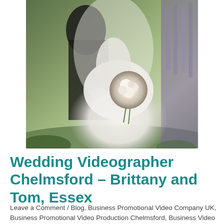[Figure (photo): Wedding photo showing a bride in a white dress and veil holding a bouquet of white and pink flowers, being embraced by a person in dark clothing, with lavender plants visible in the background.]
Wedding Videographer Chelmsford – Brittany and Tom, Essex
Leave a Comment / Blog, Business Promotional Video Company UK, Business Promotional Video Production Chelmsford, Business Video Production, Commercial Videos Chelmsford, Corporate Video Company Brentwood, Documentary